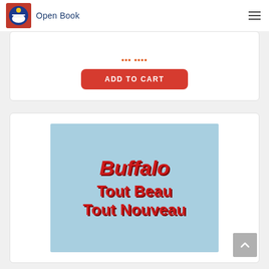Open Book
ADD TO CART
[Figure (illustration): Book cover with light blue background showing title 'Buffalo Tout Beau Tout Nouveau' in bold red italic text with shadow effect]